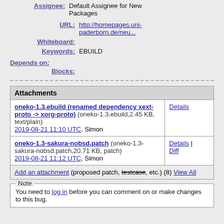Assignee: Default Assignee for New Packages
URL: http://homepages.uni-paderborn.de/neu...
Whiteboard:
Keywords: EBUILD
Depends on:
Blocks:
| Attachments |  |
| --- | --- |
| oneko-1.3.ebuild (renamed dependency xext-proto -> xorg-proto) (oneko-1.3.ebuild,2.45 KB, text/plain)
2019-08-21 11:10 UTC, Simon | Details |
| oneko-1.3-sakura-nobsd.patch (oneko-1.3-sakura-nobsd.patch,20.71 KB, patch)
2019-08-21 11:12 UTC, Simon | Details | Diff |
| Add an attachment (proposed patch, testcase, etc.) (8) View All |  |
Note
You need to log in before you can comment on or make changes to this bug.